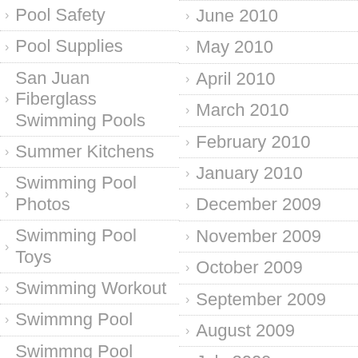Pool Safety
Pool Supplies
San Juan Fiberglass Swimming Pools
Summer Kitchens
Swimming Pool Photos
Swimming Pool Toys
Swimming Workout
Swimmng Pool
Swimmng Pool Builder
Uncategorized
MENU
Blog
June 2010
May 2010
April 2010
March 2010
February 2010
January 2010
December 2009
November 2009
October 2009
September 2009
August 2009
July 2009
June 2009
May 2009